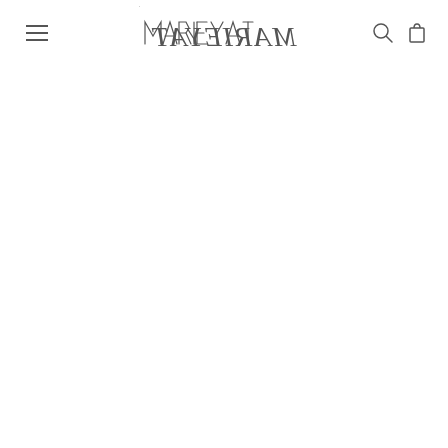MARIEYAT — navigation header with logo, hamburger menu, search and cart icons
[Figure (screenshot): Share button (dark circular button with share icon) positioned at upper right of page content area]
[Figure (screenshot): Blank white product image area below the header]